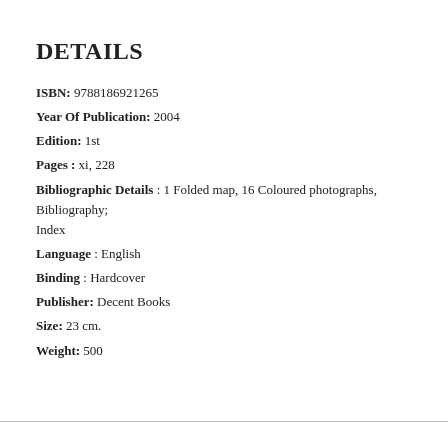DETAILS
ISBN: 9788186921265
Year Of Publication: 2004
Edition: 1st
Pages : xi, 228
Bibliographic Details : 1 Folded map, 16 Coloured photographs, Bibliography; Index
Language : English
Binding : Hardcover
Publisher: Decent Books
Size: 23 cm.
Weight: 500